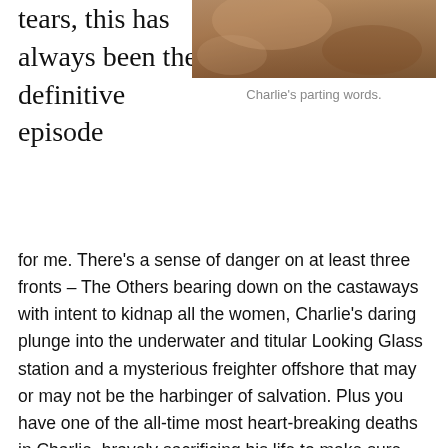tears, this has always been the definitive episode
[Figure (photo): Close-up photo, partially cropped, showing skin tones in warm brown hues — appears to be a person's face or hands.]
Charlie’s parting words.
for me. There’s a sense of danger on at least three fronts – The Others bearing down on the castaways with intent to kidnap all the women, Charlie’s daring plunge into the underwater and titular Looking Glass station and a mysterious freighter offshore that may or may not be the harbinger of salvation. Plus you have one of the all-time most heart-breaking deaths in Charlie, bravely sacrificing his life to make sure the rest of the group can contact said freighter but finding out in the last moments that those on the boat were not telling the whole truth about why they were there. And don’t even get me started on the big reveal in the last moments that all the glimpses of Jack’s